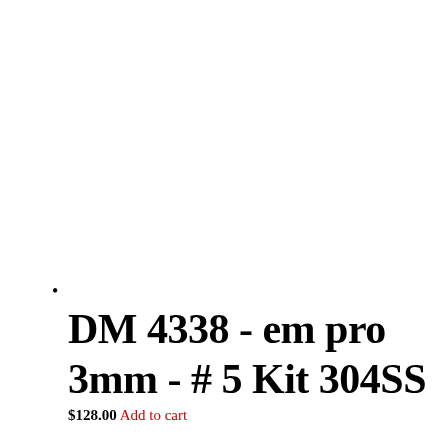•
DM 4338 - em pro 3mm - # 5 Kit 304SS
$128.00 Add to cart